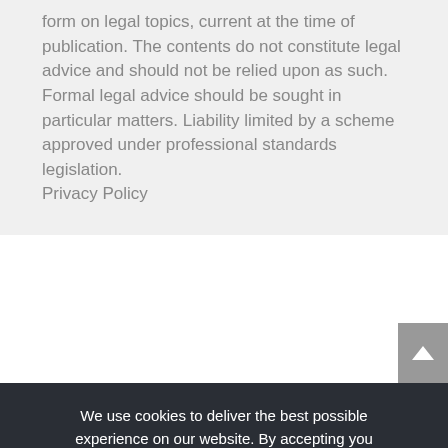form on legal topics, current at the time of publication. The contents do not constitute legal advice and should not be relied upon as such. Formal legal advice should be sought in particular matters. Liability limited by a scheme approved under professional standards legislation. Privacy Policy
We use cookies to deliver the best possible experience on our website. By accepting you consent to our use of cookies. You can change your cookie settings at any time.